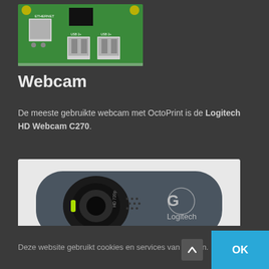[Figure (photo): Raspberry Pi circuit board showing Ethernet port and two USB 2.0 ports on a green PCB]
Webcam
De meeste gebruikte webcam met OctoPrint is de Logitech HD Webcam C270.
[Figure (photo): Logitech HD Webcam C270, dark grey, with camera lens and Logitech logo visible]
Deze website gebruikt cookies en services van derden.